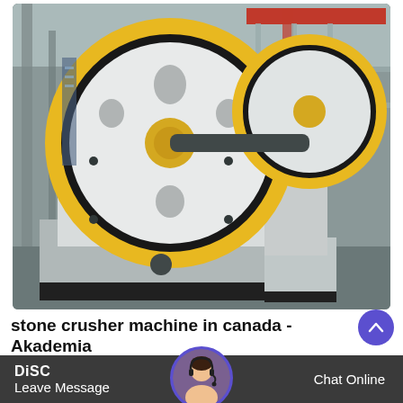[Figure (photo): A large industrial jaw crusher machine with two large black flywheels with yellow/gold rims, white machine body, situated inside a large factory/warehouse with red overhead crane beams and steel structure in the background.]
stone crusher machine in canada - Akademia
DiSC
Leave Message    Chat Online
stone crusher machine in canada hbowberlin com stone crusher charg